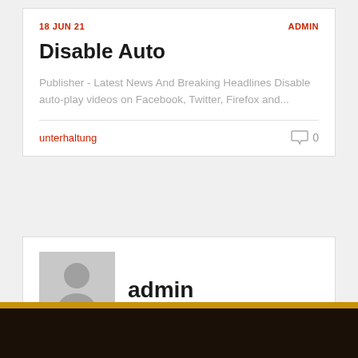18 JUN 21 | ADMIN
Disable Auto
Publisher - Latest News And Breaking Headlines Disable auto-play videos on Facebook, Twitter, Firefox and...
unterhaltung | 0
[Figure (photo): User avatar placeholder showing a silhouette of a person on grey background]
admin